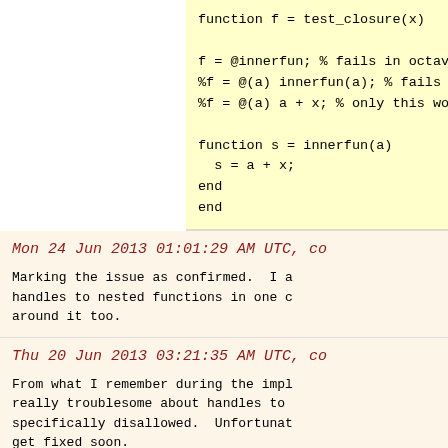function f = test_closure(x)

f = @innerfun; % fails in octave
%f = @(a) innerfun(a); % fails too ...
%f = @(a) a + x; % only this works ...

function s = innerfun(a)
  s = a + x;
end
end
Mon 24 Jun 2013 01:01:29 AM UTC, co...
Marking the issue as confirmed.  I a... handles to nested functions in one c... around it too.
Thu 20 Jun 2013 03:21:35 AM UTC, co...
From what I remember during the impl... really troublesome about handles to ... specifically disallowed.  Unfortunat... get fixed soon.
Sat 15 Jun 2013 12:08:54 AM UTC, ori...
as per: